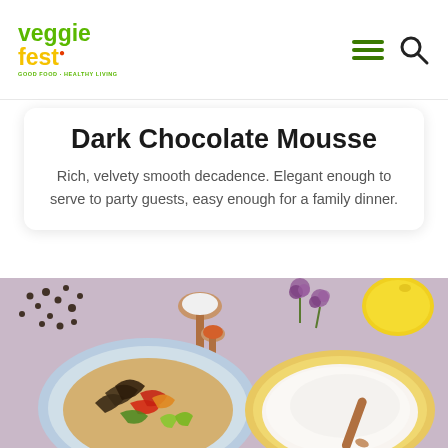veggiefest — navigation header with hamburger menu and search icon
Dark Chocolate Mousse
Rich, velvety smooth decadence. Elegant enough to serve to party guests, easy enough for a family dinner.
[Figure (photo): Overhead food photography on a lavender/mauve background showing a blue plate with vegetable fajitas and lime wedges, a bowl of white cream/mousse with a wooden spoon, scattered dark chocolate chips, wooden spoon with white sugar, wooden spoon with orange spice, purple allium flowers, and a yellow lemon.]